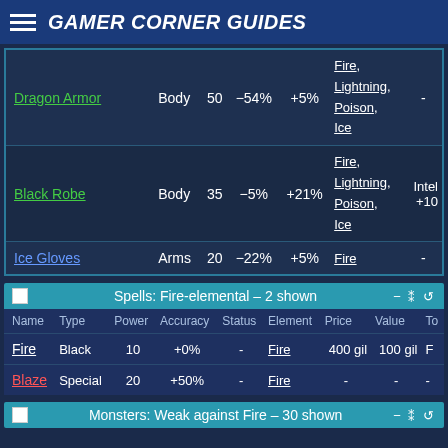GAMER CORNER GUIDES
| Name | Type | Power | Accuracy | Status | Element | Price | Value | To |
| --- | --- | --- | --- | --- | --- | --- | --- | --- |
| Dragon Armor | Body | 50 | -54% | +5% | Fire, Lightning, Poison, Ice | - |  |  |
| Black Robe | Body | 35 | -5% | +21% | Fire, Lightning, Poison, Ice | Intel +10 |  |  |
| Ice Gloves | Arms | 20 | -22% | +5% | Fire | - |  |  |
Spells: Fire-elemental – 2 shown
| Name | Type | Power | Accuracy | Status | Element | Price | Value | To |
| --- | --- | --- | --- | --- | --- | --- | --- | --- |
| Fire | Black | 10 | +0% | - | Fire | 400 gil | 100 gil | F |
| Blaze | Special | 20 | +50% | - | Fire | - | - | - |
Monsters: Weak against Fire – 30 shown